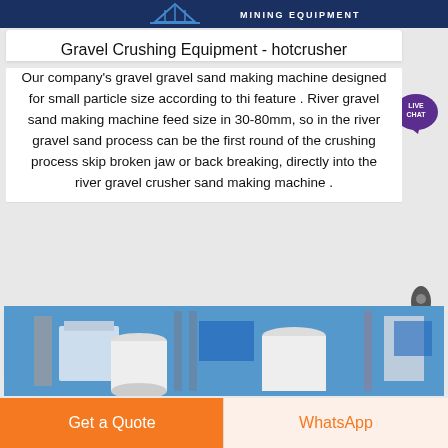[Figure (photo): Top banner with mining equipment logo and text 'MINING EQUIPMENT' on dark blue background]
Gravel Crushing Equipment - hotcrusher
Our company's gravel gravel sand making machine designed for small particle size according to thi feature . River gravel sand making machine feed size in 30-80mm, so in the river gravel sand process can be the first round of the crushing process skip broken jaw or back breaking, directly into the river gravel crusher sand making machine .
[Figure (illustration): Live Chat speech bubble icon with text LIVE CHAT, purple color]
[Figure (illustration): Rocket icon in dark gray]
[Figure (photo): Industrial equipment photo showing white cylindrical tanks and scaffolding against blue sky]
Get a Quote
WhatsApp